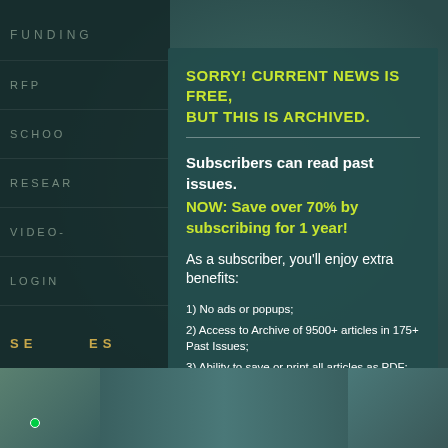FUNDING
RFP
SCHOOL
RESEARCH
VIDEO-
LOGIN
SORRY! CURRENT NEWS IS FREE, BUT THIS IS ARCHIVED.
Subscribers can read past issues.
NOW: Save over 70% by subscribing for 1 year!
As a subscriber, you'll enjoy extra benefits:
1) No ads or popups;
2) Access to Archive of 9500+ articles in 175+ Past Issues;
3) Ability to save or print all articles as PDF;
4) Satisfaction of supporting our regenerative work; and
5) Email notification of new issues (2X/month). And More!
SE...ES